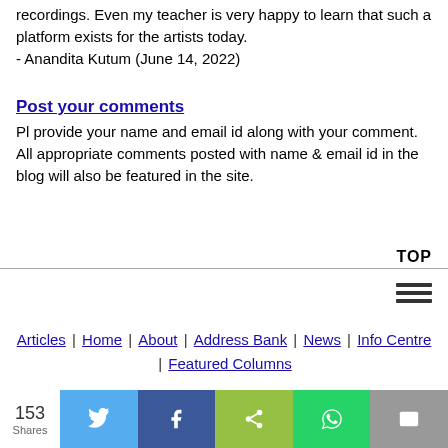recordings. Even my teacher is very happy to learn that such a platform exists for the artists today.
- Anandita Kutum (June 14, 2022)
Post your comments
Pl provide your name and email id along with your comment. All appropriate comments posted with name & email id in the blog will also be featured in the site.
TOP
[Figure (infographic): Hamburger menu icon (three horizontal lines)]
Articles | Home | About | Address Bank | News | Info Centre | Featured Columns
[Figure (infographic): Social share bar with 153 Shares count, Twitter, Facebook, ShareThis, WhatsApp, and Email buttons]